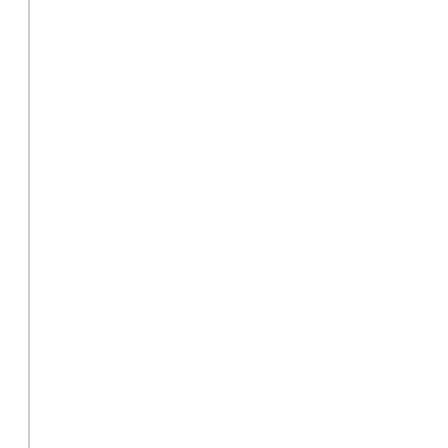The corresponding transaction may or may not be already created. If no...
The function may take two optional parameters.
The first parameter is a number representing a set of flags for controlling or hexa format; supported flags are:
0x01 - deprecated, not used any more
0x02 - do not internally generate and send a "477 Send failed ( forwarding for each branch has failed due to internal errors, bad... This flag only applies if the transaction was not previously crea... no SIP request is relayed and therefore no negative SIP reply o... Useful if you want to implement a failover logic for when none o...
0x04 - disable the DNS failover for the transaction. Only first b... transaction level.
0x08 - If the request is a CANCEL, trust and pass further th... propagate the Reason header.
0x10 - Allows OpenSIPS to inspect and follow the Content-Dis... section 9.1, the TM module may be instructed not to cancel al... the pending branches ongoing until (1) all branches will receive...
The second parameter is a string representing an outbound proxy (a... destination is specified as "[proto:]host[:port]". If a destination URI "$du... this value will be used as the destination instead of the function parame...
In case of error, the function returns the following codes: